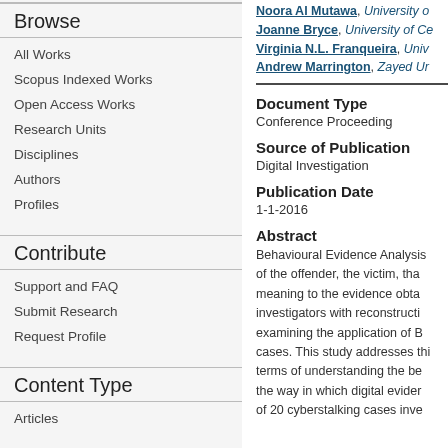Browse
All Works
Scopus Indexed Works
Open Access Works
Research Units
Disciplines
Authors
Profiles
Contribute
Support and FAQ
Submit Research
Request Profile
Content Type
Articles
Noora Al Mutawa, University o…
Joanne Bryce, University of Ce…
Virginia N.L. Franqueira, Univ…
Andrew Marrington, Zayed Ur…
Document Type
Conference Proceeding
Source of Publication
Digital Investigation
Publication Date
1-1-2016
Abstract
Behavioural Evidence Analysis of the offender, the victim, tha meaning to the evidence obta investigators with reconstructi examining the application of B cases. This study addresses thi terms of understanding the be the way in which digital evider of 20 cyberstalking cases inve